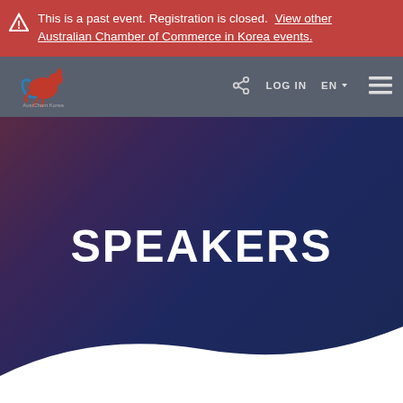This is a past event. Registration is closed. View other Australian Chamber of Commerce in Korea events.
[Figure (logo): AustCham Korea kangaroo logo]
LOG IN   EN   (navigation menu)
SPEAKERS